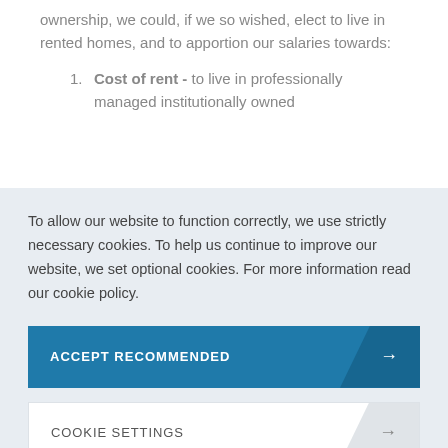ownership, we could, if we so wished, elect to live in rented homes, and to apportion our salaries towards:
Cost of rent - to live in professionally managed institutionally owned
To allow our website to function correctly, we use strictly necessary cookies. To help us continue to improve our website, we set optional cookies. For more information read our cookie policy.
ACCEPT RECOMMENDED
COOKIE SETTINGS